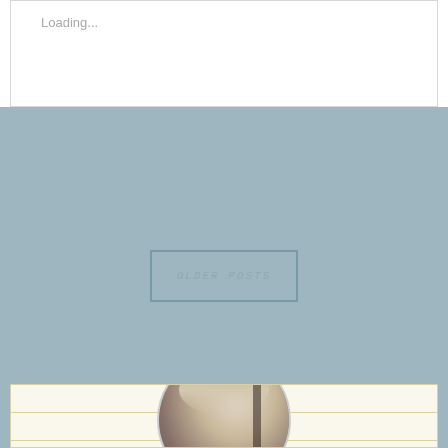Loading...
OLDER POSTS
Dayna Jacobs,AG®
[Figure (photo): Circular portrait photo of a person with light hair, partially visible at bottom of panel]